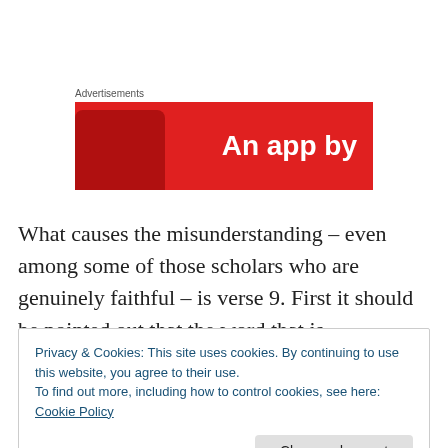Advertisements
[Figure (illustration): Red advertisement banner with white bold text 'An app by' and a partially visible dark smartphone on the left side.]
What causes the misunderstanding – even among some of those scholars who are genuinely faithful – is verse 9. First it should be pointed out that the word that is
Privacy & Cookies: This site uses cookies. By continuing to use this website, you agree to their use.
To find out more, including how to control cookies, see here: Cookie Policy
Close and accept